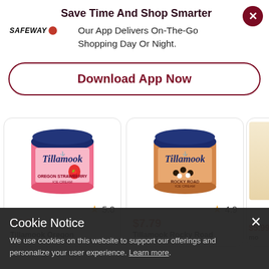Save Time And Shop Smarter
Our App Delivers On-The-Go Shopping Day Or Night.
Download App Now
[Figure (other): Tillamook Oregon Strawberry Ice Cream container, pink with blue lid, rating 5.0 stars, price $7.79]
[Figure (other): Tillamook Rocky Road Ice Cream container, orange with blue lid, rating 4.9 stars, price $7.79]
[Figure (other): Partially visible ice cream product, price $5.99]
Cookie Notice
We use cookies on this website to support our offerings and personalize your user experience. Learn more.